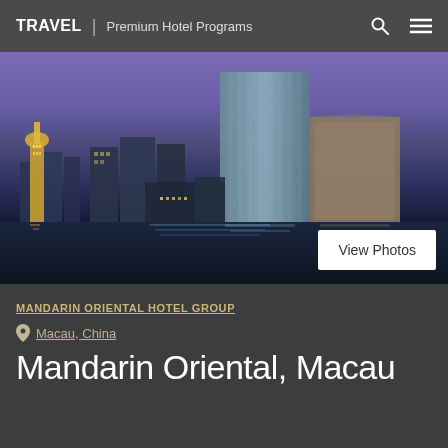TRAVEL | Premium Hotel Programs
[Figure (photo): Night-time skyline photo of Macau, China waterfront with tall glass hotel tower (Mandarin Oriental) prominently in center-right, illuminated city buildings, purple-blue dusk sky, reflections on water. A 'View Photos' button overlaid at bottom right.]
MANDARIN ORIENTAL HOTEL GROUP
Macau, China
Mandarin Oriental, Macau